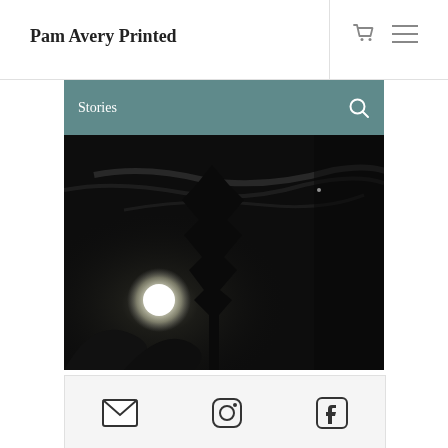Pam Avery Printed
Stories
[Figure (photo): Night sky photo with a bright full moon on the left side, a tall dark evergreen tree silhouette in the center, and wispy clouds across a dark sky]
[Figure (infographic): Footer with three icons: envelope/email icon, Instagram icon, and Facebook icon]